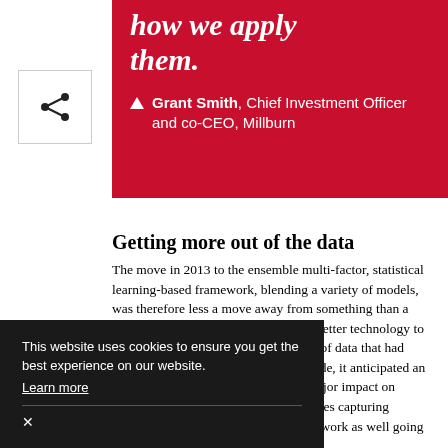how we apply them.
Grant Smith, Chief Investment Officer and co-CEO, Millburn
[Figure (other): Share icon button — a share/network icon inside a square bordered box]
Getting more out of the data
The move in 2013 to the ensemble multi-factor, statistical learning-based framework, blending a variety of models, was therefore less a move away from something than a move towards what the firm saw as a better technology to deploy and harness the growing range of data that had already been feedstock for over a decade, it anticipated an explosion in data that would have a major impact on markets, and that meant simple strategies capturing momentum were perhaps not going to work as well going
This website uses cookies to ensure you get the best experience on our website. Learn more ×